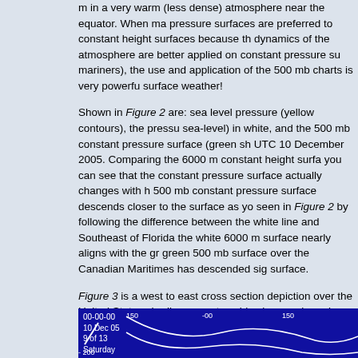m in a very warm (less dense) atmosphere near the equator. When ma pressure surfaces are preferred to constant height surfaces because th dynamics of the atmosphere are better applied on constant pressure su mariners), the use and application of the 500 mb charts is very powerfu surface weather!
Shown in Figure 2 are: sea level pressure (yellow contours), the pressu sea-level) in white, and the 500 mb constant pressure surface (green sh UTC 10 December 2005. Comparing the 6000 m constant height surfa you can see that the constant pressure surface actually changes with h 500 mb constant pressure surface descends closer to the surface as yo seen in Figure 2 by following the difference between the white line and Southeast of Florida the white 6000 m surface nearly aligns with the gr green 500 mb surface over the Canadian Maritimes has descended sig surface.
Figure 3 is a west to east cross section depiction over the United States shading warm to cold colors, and purple isotherms), pressure levels (wh isobars) for 0000 UTC 10 December 2005 (the same date and time as temperature) drop toward the surface above the surface low over New temperature. You can also see that the 500 mb (and all height lines) dip line) where the isotherms change the most across the cross section (to Warmer air is concentrated to the east of the trough axis (red dashed li the dot dash blue line. This graphic illustrates the relationship between pressure fields. One can also see that the dashed red line or pressure t and is typical of a deepening storm system. There will be more on this l
[Figure (screenshot): Bottom portion of a meteorological cross-section diagram with dark blue background. Shows labels: '00-00-00', '10 Dec 05', '9 of 13', 'Saturday', numerical markers '150', '-00', '150', and a '-200' label on the left. White curved lines visible against the dark blue background.]